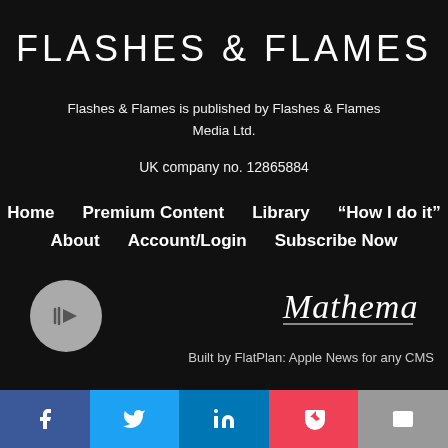FLASHES & FLAMES
Flashes & Flames is published by Flashes & Flames Media Ltd.
UK company no. 12865884
Home
Premium Content
Library
“How I do it”
About
Account/Login
Subscribe Now
[Figure (logo): Play button icon (circular grey button with play symbol)]
[Figure (logo): Mathematics script logo]
Built by FlatPlan: Apple News for any CMS
[Figure (infographic): Social media bar with Facebook, Twitter, LinkedIn, Pocket, and Email icons]